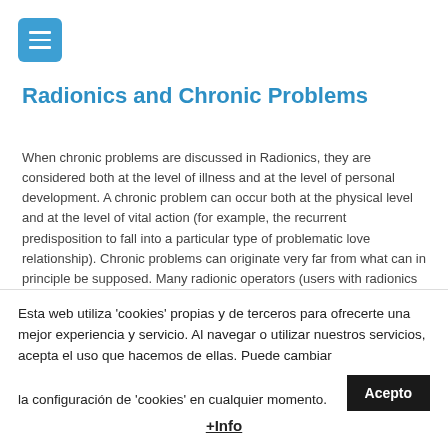[Figure (other): Blue square hamburger menu button with three white horizontal lines]
Radionics and Chronic Problems
When chronic problems are discussed in Radionics, they are considered both at the level of illness and at the level of personal development. A chronic problem can occur both at the physical level and at the level of vital action (for example, the recurrent predisposition to fall into a particular type of problematic love relationship). Chronic problems can originate very far from what can in principle be supposed. Many radionic operators (users with radionics devices) have successfully used the strategy of...
02/10/2017  0  By Técnico de Soporte   Uncategorized
Esta web utiliza 'cookies' propias y de terceros para ofrecerte una mejor experiencia y servicio. Al navegar o utilizar nuestros servicios, acepta el uso que hacemos de ellas. Puede cambiar la configuración de 'cookies' en cualquier momento.
+Info